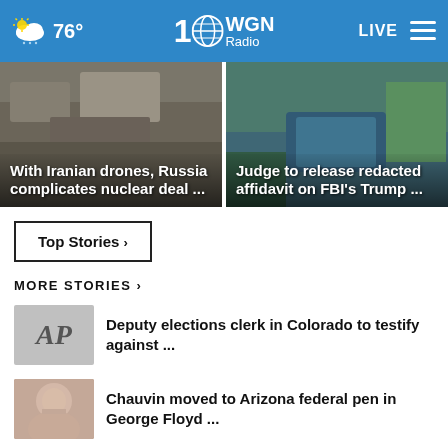76° WGN Radio LIVE
[Figure (screenshot): News card: With Iranian drones, Russia complicates nuclear deal ...]
[Figure (screenshot): News card: Judge to release redacted affidavit on FBI's Trump ...]
Top Stories ›
MORE STORIES ›
Deputy elections clerk in Colorado to testify against ...
Chauvin moved to Arizona federal pen in George Floyd ...